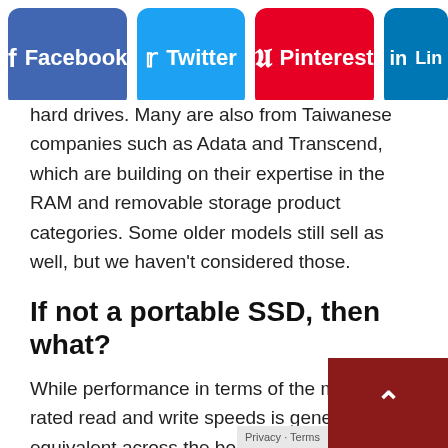[Figure (other): Social media share buttons: Facebook, Twitter, Pinterest, LinkedIn]
hard drives. Many are also from Taiwanese companies such as Adata and Transcend, which are building on their expertise in the RAM and removable storage product categories. Some older models still sell as well, but we haven't considered those.
If not a portable SSD, then what?
While performance in terms of the maximum rated read and write speeds is generally equivalent across the board, there are several models that do not have an IP rating for water and dust resistance, and also several that do not support hardware encryption. With a proliferation of simple and cheap 128GB USB pen drives, it makes sense for most manufacturers to target 250GB